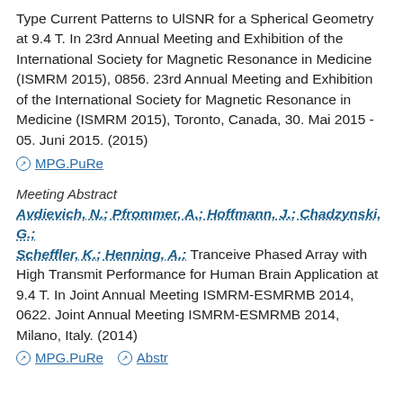Type Current Patterns to UlSNR for a Spherical Geometry at 9.4 T. In 23rd Annual Meeting and Exhibition of the International Society for Magnetic Resonance in Medicine (ISMRM 2015), 0856. 23rd Annual Meeting and Exhibition of the International Society for Magnetic Resonance in Medicine (ISMRM 2015), Toronto, Canada, 30. Mai 2015 - 05. Juni 2015. (2015)
MPG.PuRe
Meeting Abstract
Avdievich, N.; Pfrommer, A.; Hoffmann, J.; Chadzynski, G.; Scheffler, K.; Henning, A.: Tranceive Phased Array with High Transmit Performance for Human Brain Application at 9.4 T. In Joint Annual Meeting ISMRM-ESMRMB 2014, 0622. Joint Annual Meeting ISMRM-ESMRMB 2014, Milano, Italy. (2014)
MPG.PuRe   Abstr